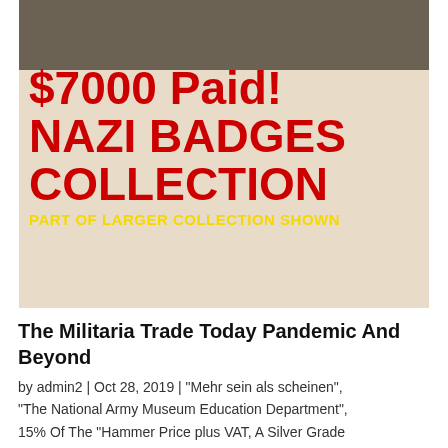[Figure (photo): Advertisement image with militaria badges/medals visible at top, large red bold text reading '$7000 Paid! NAZI BADGES COLLECTION' on beige background, with yellow text 'PART OF LARGER COLLECTION SHOWN' at bottom]
The Militaria Trade Today Pandemic And Beyond
by admin2 | Oct 28, 2019 | "Mehr sein als scheinen", "The National Army Museum Education Department", 15% Of The "Hammer Price plus VAT, A Silver Grade Wound Badge By Funke & Brüninghaus, alles fur